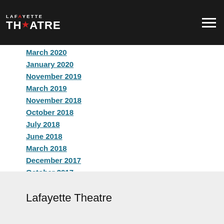Lafayette Theatre
March 2020
January 2020
November 2019
March 2019
November 2018
October 2018
July 2018
June 2018
March 2018
December 2017
October 2017
RSS Feed
Lafayette Theatre